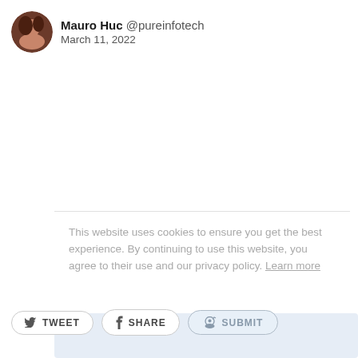[Figure (photo): Circular avatar photo of Mauro Huc]
Mauro Huc @pureinfotech
March 11, 2022
This website uses cookies to ensure you get the best experience. By continuing to use this website, you agree to their use and our privacy policy. Learn more
TWEET   SHARE   SUBMIT